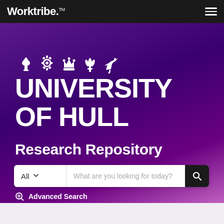Worktribe.™
[Figure (logo): University of Hull crest icons: torch, gear, crown, fleur-de-lis, bird]
UNIVERSITY OF HULL
Research Repository
All — What are you looking for today? [search bar]
⊕ Advanced Search